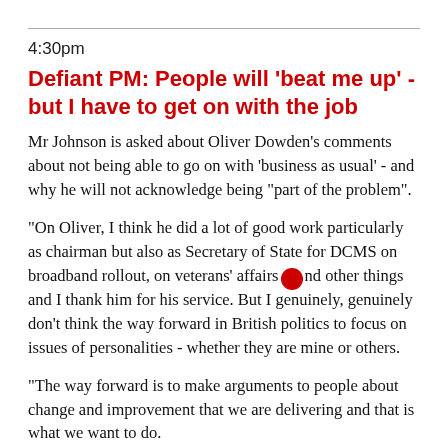4:30pm
Defiant PM: People will 'beat me up' - but I have to get on with the job
Mr Johnson is asked about Oliver Dowden's comments about not being able to go on with 'business as usual' - and why he will not acknowledge being "part of the problem".
"On Oliver, I think he did a lot of good work particularly as chairman but also as Secretary of State for DCMS on broadband rollout, on veterans' affairs and other things and I thank him for his service. But I genuinely, genuinely don't think the way forward in British politics to focus on issues of personalities - whether they are mine or others.
"The way forward is to make arguments to people about change and improvement that we are delivering and that is what we want to do.